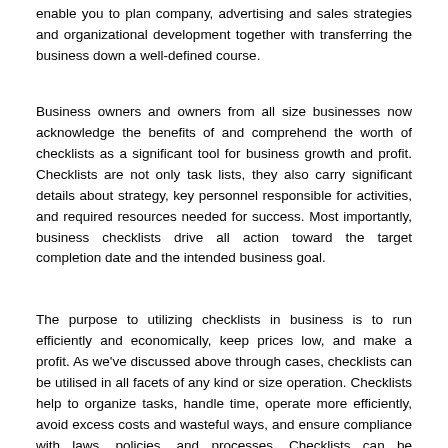enable you to plan company, advertising and sales strategies and organizational development together with transferring the business down a well-defined course.
Business owners and owners from all size businesses now acknowledge the benefits of and comprehend the worth of checklists as a significant tool for business growth and profit. Checklists are not only task lists, they also carry significant details about strategy, key personnel responsible for activities, and required resources needed for success. Most importantly, business checklists drive all action toward the target completion date and the intended business goal.
The purpose to utilizing checklists in business is to run efficiently and economically, keep prices low, and make a profit. As we've discussed above through cases, checklists can be utilised in all facets of any kind or size operation. Checklists help to organize tasks, handle time, operate more efficiently, avoid excess costs and wasteful ways, and ensure compliance with laws, policies, and processes. Checklists can be developed internally, can be bought through a commercial source, or bought and altered to satisfy your specific requirements. Purchasing a commercially accessible checklist that has been tested by a number of other business owners can save a lot of time and money. Nevertheless